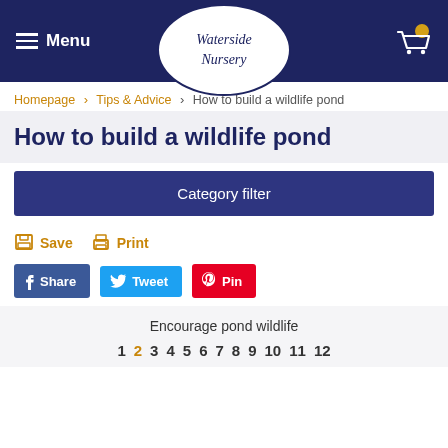Waterside Nursery — Menu / Logo / Cart
Homepage > Tips & Advice > How to build a wildlife pond
How to build a wildlife pond
Category filter
Save  Print
Share  Tweet  Pin
Encourage pond wildlife
1  2  3  4  5  6  7  8  9  10  11  12